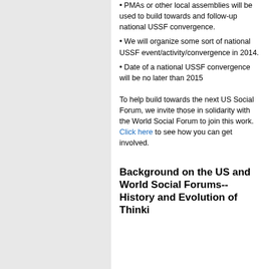• PMAs or other local assemblies will be used to build towards and follow-up national USSF convergence.
• We will organize some sort of national USSF event/activity/convergence in 2014.
• Date of a national USSF convergence will be no later than 2015
To help build towards the next US Social Forum, we invite those in solidarity with the World Social Forum to join this work. Click here to see how you can get involved.
Background on the US and World Social Forums--History and Evolution of Thinking